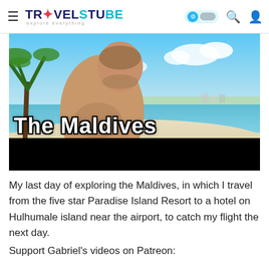TRAVELSTUBE — explore everything
[Figure (photo): A man on a white sand beach in the Maldives with turquoise water and palm trees. Overlaid text reads 'The Maldives' in large bold white font with black outline. A black bar at the bottom of the image.]
My last day of exploring the Maldives, in which I travel from the five star Paradise Island Resort to a hotel on Hulhumale island near the airport, to catch my flight the next day.
Support Gabriel's videos on Patreon: